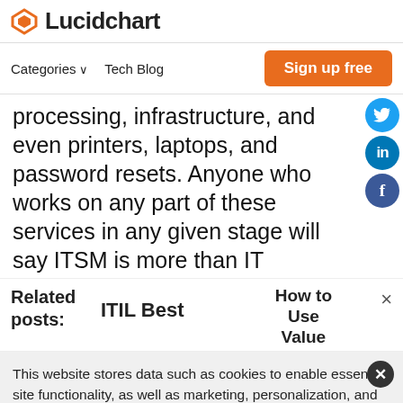[Figure (logo): Lucidchart logo with orange diamond icon and bold text]
Categories ∨   Tech Blog   Sign up free
processing, infrastructure, and even printers, laptops, and password resets. Anyone who works on any part of these services in any given stage will say ITSM is more than IT
Related posts:   ITIL Best   How to Use Value   ×
This website stores data such as cookies to enable essential site functionality, as well as marketing, personalization, and analytics. By remaining on this website you indicate your consent. Cookie Policy